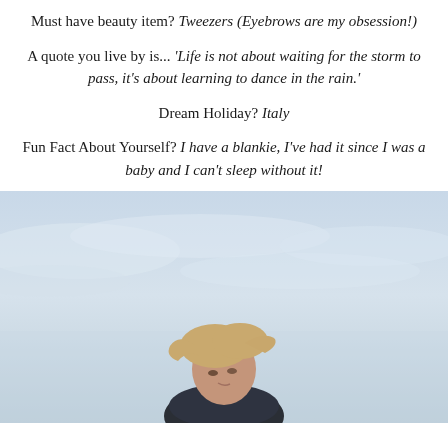Must have beauty item? Tweezers (Eyebrows are my obsession!)
A quote you live by is... 'Life is not about waiting for the storm to pass, it's about learning to dance in the rain.'
Dream Holiday? Italy
Fun Fact About Yourself? I have a blankie, I've had it since I was a baby and I can't sleep without it!
[Figure (photo): Young woman with windswept blonde hair photographed outdoors against a pale grey-blue overcast sky, looking slightly to the side, wearing a dark jacket.]